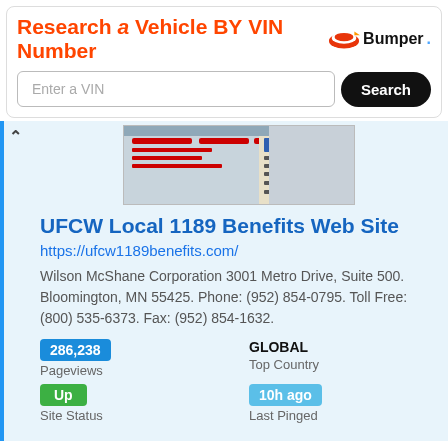[Figure (infographic): Bumper ad banner: 'Research a Vehicle BY VIN Number' with Bumper logo, VIN input field and Search button]
[Figure (screenshot): Thumbnail screenshot of the UFCW 1189 Benefits website]
UFCW Local 1189 Benefits Web Site
https://ufcw1189benefits.com/
Wilson McShane Corporation 3001 Metro Drive, Suite 500. Bloomington, MN 55425. Phone: (952) 854-0795. Toll Free: (800) 535-6373. Fax: (952) 854-1632.
286,238 Pageviews
GLOBAL Top Country
Up Site Status
10h ago Last Pinged